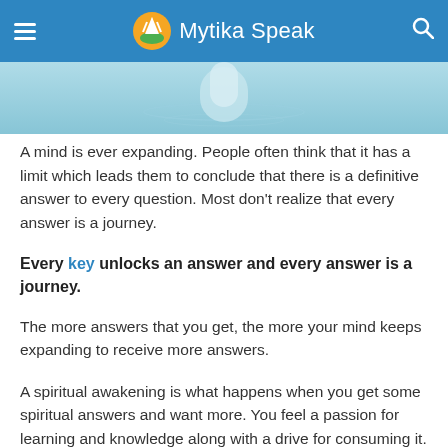Mytika Speak
[Figure (photo): Partial view of a person or object reflected on calm blue water surface]
A mind is ever expanding. People often think that it has a limit which leads them to conclude that there is a definitive answer to every question. Most don't realize that every answer is a journey.
Every key unlocks an answer and every answer is a journey.
The more answers that you get, the more your mind keeps expanding to receive more answers.
A spiritual awakening is what happens when you get some spiritual answers and want more. You feel a passion for learning and knowledge along with a drive for consuming it.